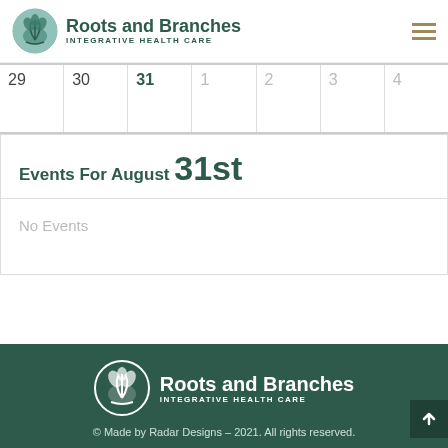Roots and Branches INTEGRATIVE HEALTH CARE
| 29 | 30 | 31 | 1 | 2 | 3 | 4 |
| --- | --- | --- | --- | --- | --- | --- |
Events For August 31st
No Events
Roots and Branches INTEGRATIVE HEALTH CARE © Made by Radar Designs – 2021. All rights reserved.